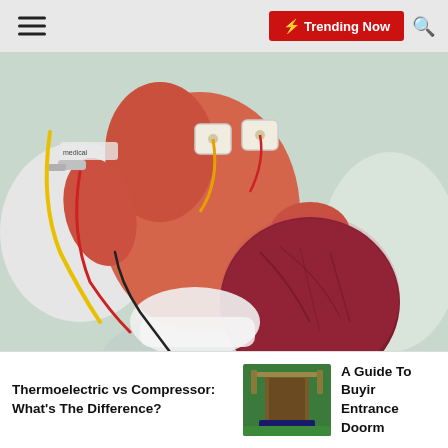☰  ☾  ⚡ Trending Now  🔍
[Figure (photo): Clinical photograph of a newborn infant in a medical setting, showing a large encephalocele or cephalohematoma on the back of the head. The baby has monitoring electrode patches on the chest, colored IV/monitoring lines (yellow, red, black), and is lying on white cotton padding with a teal surface underneath. Medical tubing is visible.]
Thermoelectric vs Compressor: What's The Difference?
[Figure (photo): Small thumbnail image of a doormat in front of an entrance door with green/teal surroundings]
A Guide To Buying Entrance Doorm